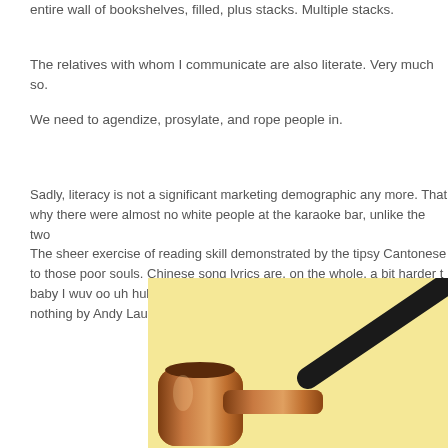entire wall of bookshelves, filled, plus stacks. Multiple stacks.
The relatives with whom I communicate are also literate. Very much so.
We need to agendize, prosylate, and rope people in.
Sadly, literacy is not a significant marketing demographic any more. That why there were almost no white people at the karaoke bar, unlike the two The sheer exercise of reading skill demonstrated by the tipsy Cantonese to those poor souls. Chinese song lyrics are, on the whole, a bit harder t baby I wuv oo uh huh uh huh". To my great regret and the bookseller's p nothing by Andy Lau was on screen. I've become rather fond of his weiro
[Figure (photo): A wooden tobacco pipe with a dark black mouthpiece on a pale yellow background, cropped at bottom-right of the page.]